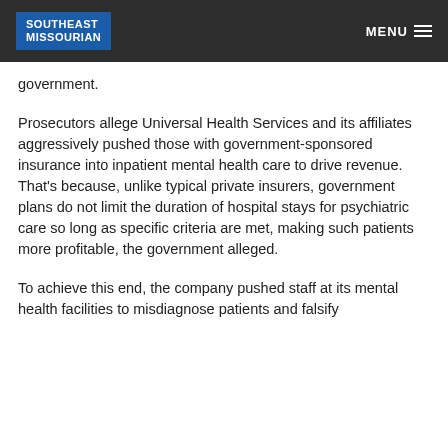SOUTHEAST MISSOURIAN | MENU
government.
Prosecutors allege Universal Health Services and its affiliates aggressively pushed those with government-sponsored insurance into inpatient mental health care to drive revenue. That's because, unlike typical private insurers, government plans do not limit the duration of hospital stays for psychiatric care so long as specific criteria are met, making such patients more profitable, the government alleged.
To achieve this end, the company pushed staff at its mental health facilities to misdiagnose patients and falsify